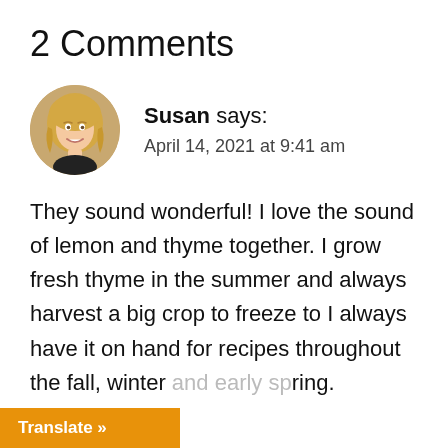2 Comments
Susan says:
April 14, 2021 at 9:41 am
They sound wonderful! I love the sound of lemon and thyme together. I grow fresh thyme in the summer and always harvest a big crop to freeze to I always have it on hand for recipes throughout the fall, winter and early spring.
Translate »